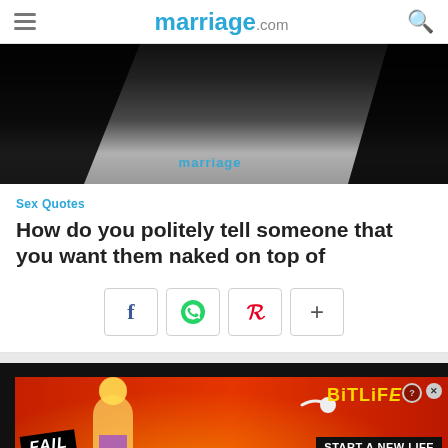marriage.com
[Figure (photo): Black and white photo with marriage.com watermark overlay]
Sex Quotes
How do you politely tell someone that you want them naked on top of
[Figure (infographic): Social share buttons: Facebook, WhatsApp, Pinterest, More (+)]
[Figure (photo): BitLife advertisement banner: FAIL - START A NEW LIFE on red/fire background]